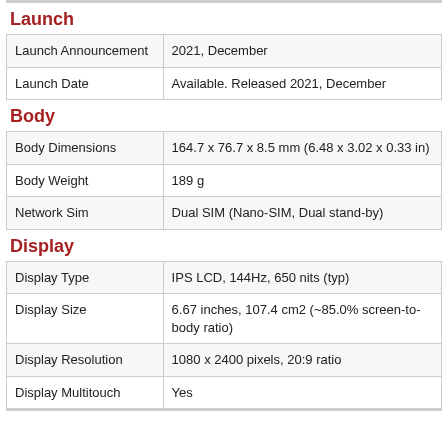Launch
| Launch Announcement | 2021, December |
| Launch Date | Available. Released 2021, December |
Body
| Body Dimensions | 164.7 x 76.7 x 8.5 mm (6.48 x 3.02 x 0.33 in) |
| Body Weight | 189 g |
| Network Sim | Dual SIM (Nano-SIM, Dual stand-by) |
Display
| Display Type | IPS LCD, 144Hz, 650 nits (typ) |
| Display Size | 6.67 inches, 107.4 cm2 (~85.0% screen-to-body ratio) |
| Display Resolution | 1080 x 2400 pixels, 20:9 ratio |
| Display Multitouch | Yes |